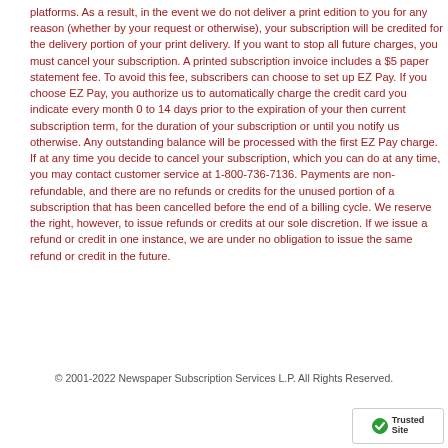platforms. As a result, in the event we do not deliver a print edition to you for any reason (whether by your request or otherwise), your subscription will be credited for the delivery portion of your print delivery. If you want to stop all future charges, you must cancel your subscription. A printed subscription invoice includes a $5 paper statement fee. To avoid this fee, subscribers can choose to set up EZ Pay. If you choose EZ Pay, you authorize us to automatically charge the credit card you indicate every month 0 to 14 days prior to the expiration of your then current subscription term, for the duration of your subscription or until you notify us otherwise. Any outstanding balance will be processed with the first EZ Pay charge. If at any time you decide to cancel your subscription, which you can do at any time, you may contact customer service at 1-800-736-7136. Payments are non-refundable, and there are no refunds or credits for the unused portion of a subscription that has been cancelled before the end of a billing cycle. We reserve the right, however, to issue refunds or credits at our sole discretion. If we issue a refund or credit in one instance, we are under no obligation to issue the same refund or credit in the future.
© 2001-2022 Newspaper Subscription Services L.P. All Rights Reserved.
[Figure (logo): TrustedSite badge with checkmark icon]